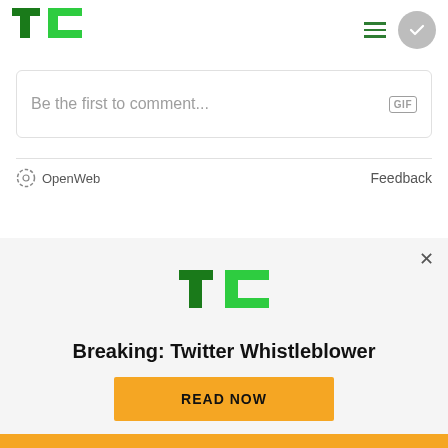[Figure (logo): TechCrunch TC logo in green at top left]
[Figure (screenshot): Hamburger menu icon (three green horizontal lines)]
[Figure (screenshot): Gray circle badge with white checkmark]
Be the first to comment...
GIF
[Figure (logo): OpenWeb logo — gear/circle icon with OpenWeb text]
Feedback
[Figure (logo): TechCrunch TC logo in green, large, in overlay banner]
Breaking: Twitter Whistleblower
READ NOW